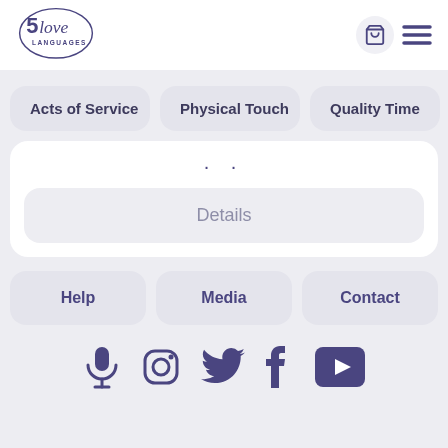[Figure (logo): 5 Love Languages logo with circular border]
[Figure (illustration): Shopping cart and hamburger menu icons in header]
Acts of Service
Physical Touch
Quality Time
Details
Help
Media
Contact
[Figure (illustration): Social media icons: microphone, Instagram, Twitter, Facebook, YouTube]